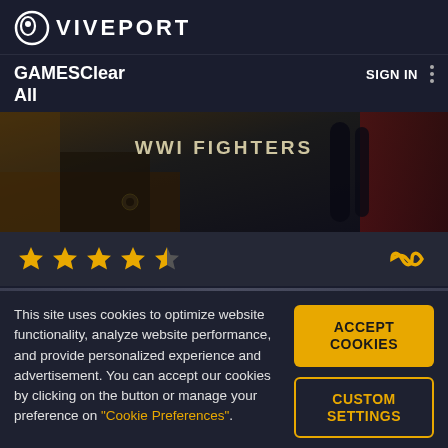VIVEPORT
GAMESClear All
SIGN IN
[Figure (screenshot): WWI Fighters game banner image showing cockpit/aircraft details with overlaid title text 'WWI FIGHTERS']
★★★★½ (4.5 stars rating) with infinity symbol
This site uses cookies to optimize website functionality, analyze website performance, and provide personalized experience and advertisement. You can accept our cookies by clicking on the button or manage your preference on "Cookie Preferences".
ACCEPT COOKIES
CUSTOM SETTINGS